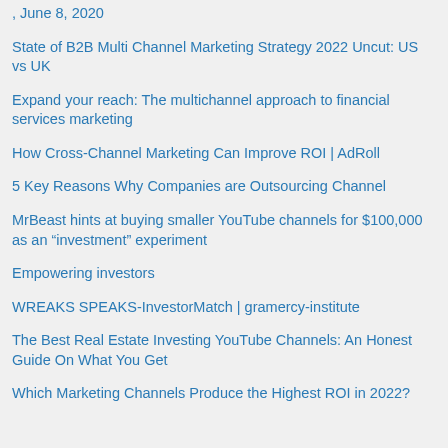, June 8, 2020
State of B2B Multi Channel Marketing Strategy 2022 Uncut: US vs UK
Expand your reach: The multichannel approach to financial services marketing
How Cross-Channel Marketing Can Improve ROI | AdRoll
5 Key Reasons Why Companies are Outsourcing Channel
MrBeast hints at buying smaller YouTube channels for $100,000 as an “investment” experiment
Empowering investors
WREAKS SPEAKS-InvestorMatch | gramercy-institute
The Best Real Estate Investing YouTube Channels: An Honest Guide On What You Get
Which Marketing Channels Produce the Highest ROI in 2022?